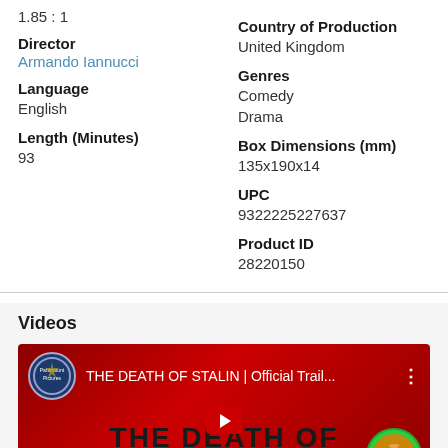1.85 : 1
Director
Armando Iannucci
Language
English
Length (Minutes)
93
Country of Production
United Kingdom
Genres
Comedy
Drama
Box Dimensions (mm)
135x190x14
UPC
9322225227637
Product ID
28220150
Videos
[Figure (screenshot): YouTube video thumbnail for 'THE DEATH OF STALIN | Official Trail...' with Paramount Pictures logo, red background, and text 'THE DEATH OF STALIN' in large letters]